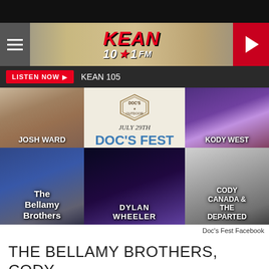[Figure (screenshot): KEAN 105.1 FM radio station website screenshot showing header with logo, listen now bar, and a grid of artist photos for Doc's Fest 2021 featuring Josh Ward, Kody West, The Bellamy Brothers, Dylan Wheeler, and Cody Canada & The Departed]
Doc's Fest Facebook
THE BELLAMY BROTHERS, CODY